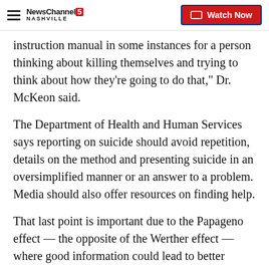NewsChannel 5 Nashville | Watch Now
instruction manual in some instances for a person thinking about killing themselves and trying to think about how they're going to do that," Dr. McKeon said.
The Department of Health and Human Services says reporting on suicide should avoid repetition, details on the method and presenting suicide in an oversimplified manner or an answer to a problem. Media should also offer resources on finding help.
That last point is important due to the Papageno effect — the opposite of the Werther effect — where good information could lead to better outcomes.
When rapper Logic released the song titled "1-800-